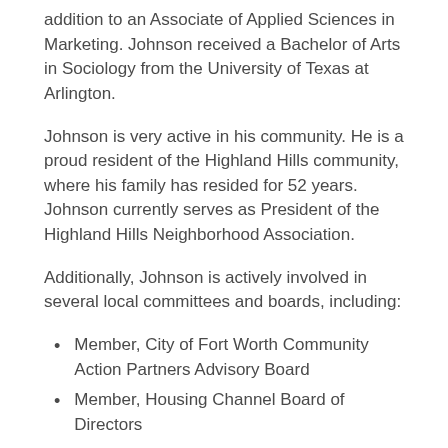addition to an Associate of Applied Sciences in Marketing. Johnson received a Bachelor of Arts in Sociology from the University of Texas at Arlington.
Johnson is very active in his community. He is a proud resident of the Highland Hills community, where his family has resided for 52 years. Johnson currently serves as President of the Highland Hills Neighborhood Association.
Additionally, Johnson is actively involved in several local committees and boards, including:
Member, City of Fort Worth Community Action Partners Advisory Board
Member, Housing Channel Board of Directors
Vice-Chair, Tarrant County Homeless Coalition Board of Directors